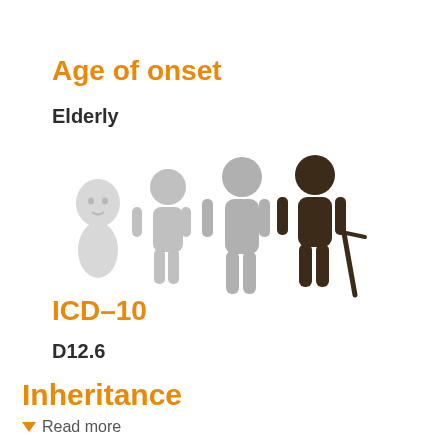Age of onset
Elderly
[Figure (infographic): Four age stage icons from left to right: baby (light gray), child (light gray), adult (light gray), elderly person with cane (dark brown). The elderly figure is highlighted/darkened indicating the age of onset is elderly.]
ICD-10
D12.6
Inheritance
Read more